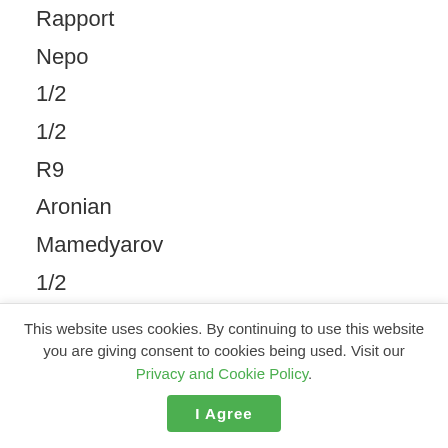Rapport
Nepo
1/2
1/2
R9
Aronian
Mamedyarov
1/2
1/2
R9
Nepo
Aronian
1/2
1/2
This website uses cookies. By continuing to use this website you are giving consent to cookies being used. Visit our Privacy and Cookie Policy.